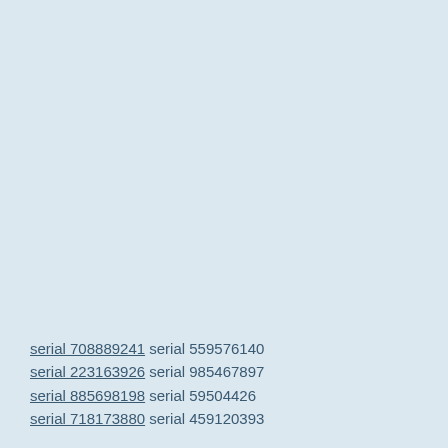serial 708889241 serial 559576140
serial 223163926 serial 985467897
serial 885698198 serial 59504426
serial 718173880 serial 459120393